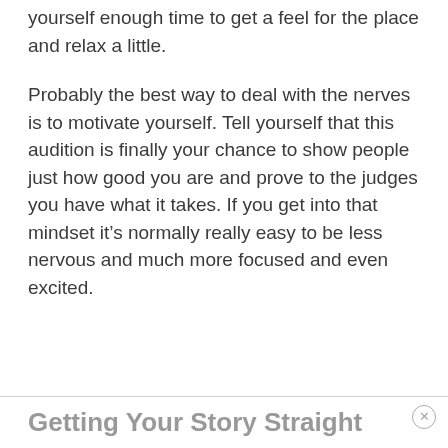yourself enough time to get a feel for the place and relax a little.
Probably the best way to deal with the nerves is to motivate yourself. Tell yourself that this audition is finally your chance to show people just how good you are and prove to the judges you have what it takes. If you get into that mindset it’s normally really easy to be less nervous and much more focused and even excited.
Getting Your Story Straight